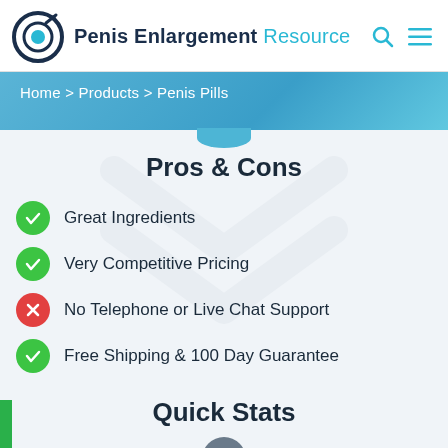Penis Enlargement Resource
Home > Products > Penis Pills
Pros & Cons
Great Ingredients
Very Competitive Pricing
No Telephone or Live Chat Support
Free Shipping & 100 Day Guarantee
Quick Stats